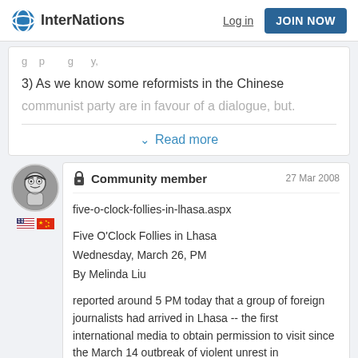InterNations | Log in | JOIN NOW
3) As we know some reformists in the Chinese communist party are in favour of a dialogue, but.
Read more
Community member  27 Mar 2008
five-o-clock-follies-in-lhasa.aspx

Five O'Clock Follies in Lhasa
Wednesday, March 26, PM
By Melinda Liu

reported around 5 PM today that a group of foreign journalists had arrived in Lhasa -- the first international media to obtain permission to visit since the March 14 outbreak of violent unrest in